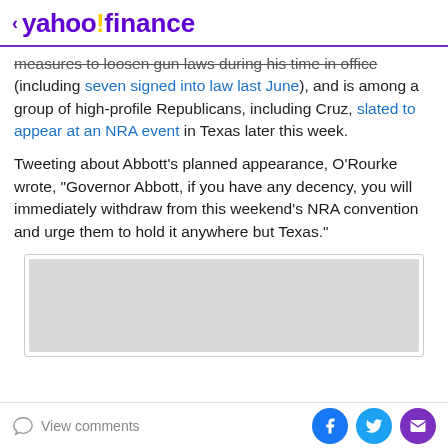< yahoo!finance
measures to loosen gun laws during his time in office (including seven signed into law last June), and is among a group of high-profile Republicans, including Cruz, slated to appear at an NRA event in Texas later this week.
Tweeting about Abbott's planned appearance, O'Rourke wrote, "Governor Abbott, if you have any decency, you will immediately withdraw from this weekend's NRA convention and urge them to hold it anywhere but Texas."
[Figure (other): Advertisement placeholder box with light grey background]
View comments | Share on Facebook, Twitter, Email